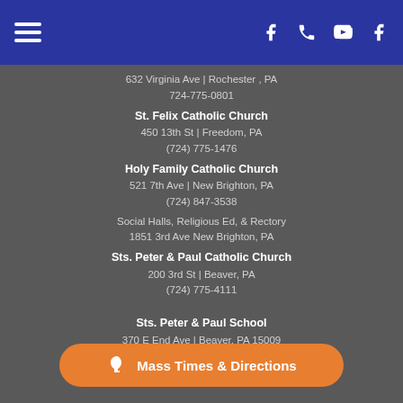Navigation header with hamburger menu and social/contact icons
632 Virginia Ave | Rochester , PA
724-775-0801
St. Felix Catholic Church
450 13th St | Freedom, PA
(724) 775-1476
Holy Family Catholic Church
521 7th Ave | New Brighton, PA
(724) 847-3538
Social Halls, Religious Ed, & Rectory
1851 3rd Ave New Brighton, PA
Sts. Peter & Paul Catholic Church
200 3rd St | Beaver, PA
(724) 775-4111
Sts. Peter & Paul School
370 E End Ave | Beaver, PA 15009
(724) 774-4450
Mass Times & Directions